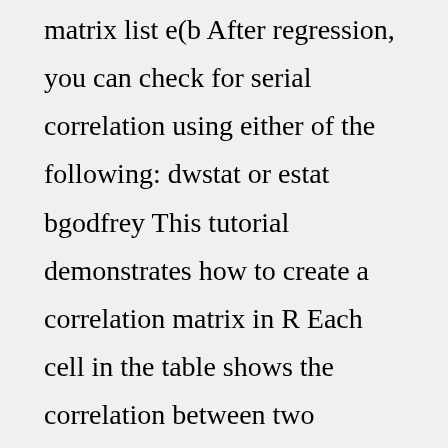matrix list e(b After regression, you can check for serial correlation using either of the following: dwstat or estat bgodfrey This tutorial demonstrates how to create a correlation matrix in R Each cell in the table shows the correlation between two variables estpost is a tool make results from some of the most popular of these non-"e-class" commands available for tabulation Range containing data: default is the range selected on the worksheet; include the headings as